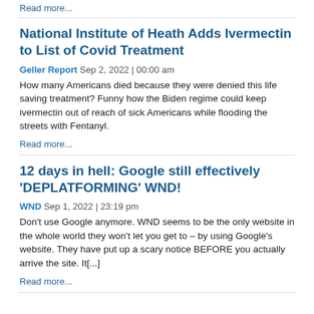Read more...
National Institute of Heath Adds Ivermectin to List of Covid Treatment
Geller Report Sep 2, 2022 | 00:00 am
How many Americans died because they were denied this life saving treatment? Funny how the Biden regime could keep ivermectin out of reach of sick Americans while flooding the streets with Fentanyl.
Read more...
12 days in hell: Google still effectively 'DEPLATFORMING' WND!
WND Sep 1, 2022 | 23:19 pm
Don't use Google anymore. WND seems to be the only website in the whole world they won't let you get to – by using Google's website. They have put up a scary notice BEFORE you actually arrive the site. It[...]
Read more...